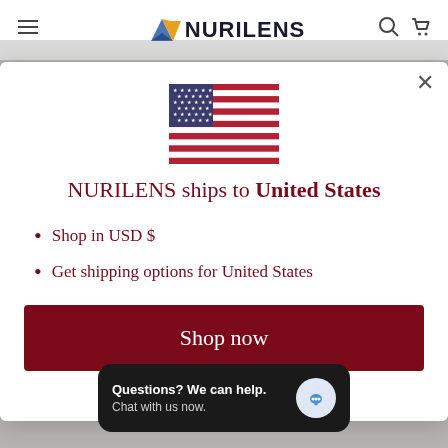[Figure (screenshot): Nurilens website header with hamburger menu icon on left, Nurilens logo in center, and search/cart icons on right]
[Figure (illustration): United States flag SVG illustration]
NURILENS ships to United States
Shop in USD $
Get shipping options for United States
Shop now
Change shipping country
Questions? We can help. Chat with us now.